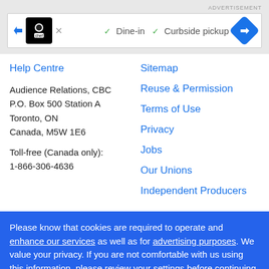[Figure (other): Advertisement banner with restaurant icon, checkmarks for Dine-in and Curbside pickup, and a blue arrow icon]
Help Centre
Audience Relations, CBC
P.O. Box 500 Station A
Toronto, ON
Canada, M5W 1E6
Toll-free (Canada only):
1-866-306-4636
Sitemap
Reuse & Permission
Terms of Use
Privacy
Jobs
Our Unions
Independent Producers
Please know that cookies are required to operate and enhance our services as well as for advertising purposes. We value your privacy. If you are not comfortable with us using this information, please review your settings before continuing your visit.
Learn more
✕ Close